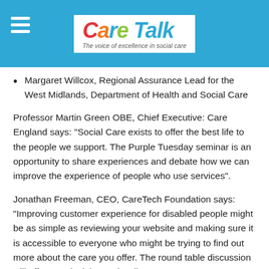Care Talk - The voice of excellence in social care
Margaret Willcox, Regional Assurance Lead for the West Midlands, Department of Health and Social Care
Professor Martin Green OBE, Chief Executive: Care England says: “Social Care exists to offer the best life to the people we support. The Purple Tuesday seminar is an opportunity to share experiences and debate how we can improve the experience of people who use services”.
Jonathan Freeman, CEO, CareTech Foundation says: “Improving customer experience for disabled people might be as simple as reviewing your website and making sure it is accessible to everyone who might be trying to find out more about the care you offer. The round table discussion will offer practical tips and well as